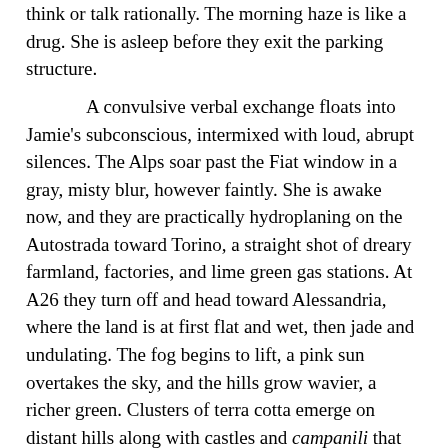think or talk rationally. The morning haze is like a drug. She is asleep before they exit the parking structure.

A convulsive verbal exchange floats into Jamie’s subconscious, intermixed with loud, abrupt silences. The Alps soar past the Fiat window in a gray, misty blur, however faintly. She is awake now, and they are practically hydroplaning on the Autostrada toward Torino, a straight shot of dreary farmland, factories, and lime green gas stations. At A26 they turn off and head toward Alessandria, where the land is at first flat and wet, then jade and undulating. The fog begins to lift, a pink sun overtakes the sky, and the hills grow wavier, a richer green. Clusters of terra cotta emerge on distant hills along with castles and campanili that don’t seem entirely real, until they get closer, and then they still don’t